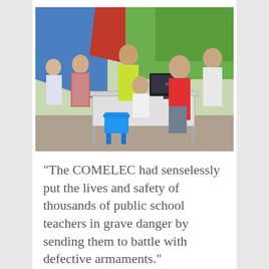[Figure (photo): Group of people gathered around a table outdoors under a tent with blue and red tarps. A woman in a red shirt stands at the table while others look on. A COMELEC monitor/computer is visible on the table. Appears to be a voter registration or election-related activity in the Philippines.]
“The COMELEC had senselessly put the lives and safety of thousands of public school teachers in grave danger by sending them to battle with defective armaments.”